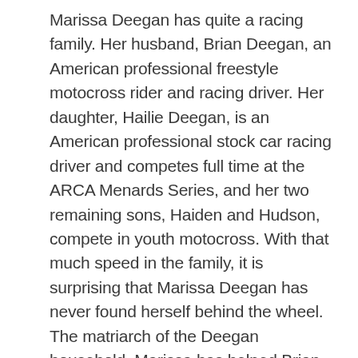Marissa Deegan has quite a racing family. Her husband, Brian Deegan, an American professional freestyle motocross rider and racing driver. Her daughter, Hailie Deegan, is an American professional stock car racing driver and competes full time at the ARCA Menards Series, and her two remaining sons, Haiden and Hudson, compete in youth motocross. With that much speed in the family, it is surprising that Marissa Deegan has never found herself behind the wheel. The matriarch of the Deegan household, Marissa has helped Brian climb through the ranks by making sure that she takes care of things on the family's end. In this article, we will take a closer look at the wiki-bio of Marissa Deegan.